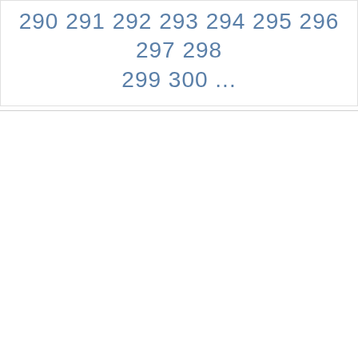290 291 292 293 294 295 296 297 298 299 300 ...